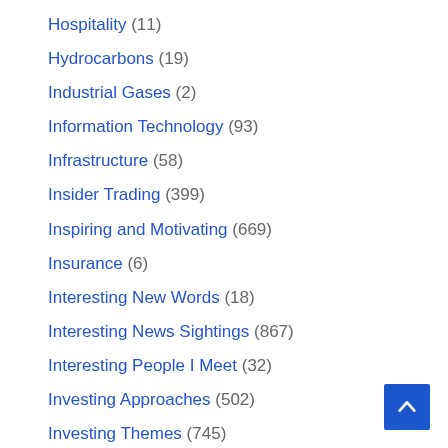Hospitality (11)
Hydrocarbons (19)
Industrial Gases (2)
Information Technology (93)
Infrastructure (58)
Insider Trading (399)
Inspiring and Motivating (669)
Insurance (6)
Interesting New Words (18)
Interesting News Sightings (867)
Interesting People I Meet (32)
Investing Approaches (502)
Investing Themes (745)